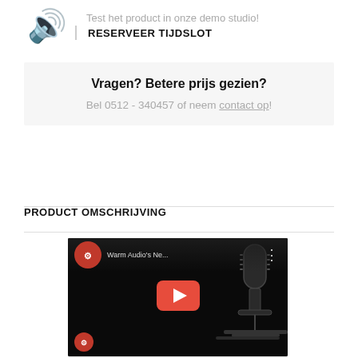Test het product in onze demo studio!
RESERVEER TIJDSLOT
Vragen? Betere prijs gezien?
Bel 0512 - 340457 of neem contact op!
PRODUCT OMSCHRIJVING
[Figure (screenshot): YouTube video thumbnail showing 'Warm Audio's Ne...' with a microphone in the background and a red YouTube play button in the center. Channel logo visible in top-left and bottom-left corners.]